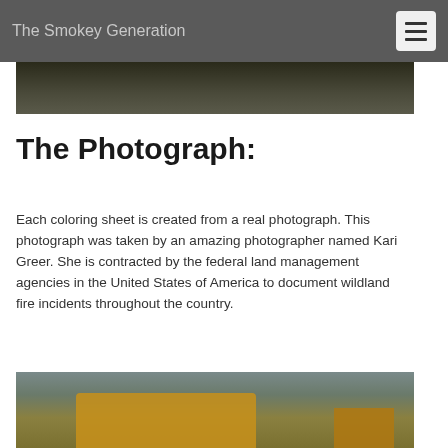The Smokey Generation
[Figure (photo): Dark landscape photo strip, cropped at top of page showing terrain]
The Photograph:
Each coloring sheet is created from a real photograph. This photograph was taken by an amazing photographer named Kari Greer. She is contracted by the federal land management agencies in the United States of America to document wildland fire incidents throughout the country.
[Figure (photo): Photograph of a yellow bulldozer on a hillside with smoke and mountains in the background, documenting a wildland fire incident]